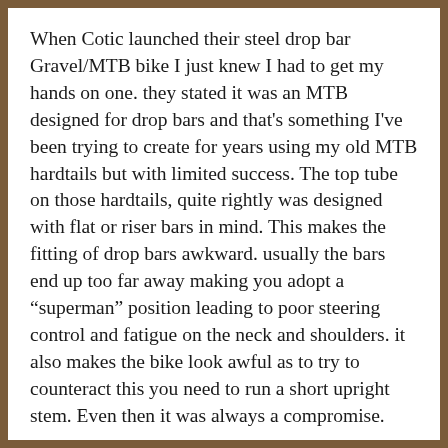When Cotic launched their steel drop bar Gravel/MTB bike I just knew I had to get my hands on one. they stated it was an MTB designed for drop bars and that's something I've been trying to create for years using my old MTB hardtails but with limited success. The top tube on those hardtails, quite rightly was designed with flat or riser bars in mind. This makes the fitting of drop bars awkward. usually the bars end up too far away making you adopt a “superman” position leading to poor steering control and fatigue on the neck and shoulders. it also makes the bike look awful as to try to counteract this you need to run a short upright stem. Even then it was always a compromise.
So I sent an email to Cy at Cotic to see if there was any way to get a ride on one. Cy very helpfully arranged for a bike to be sent out. I was away doing